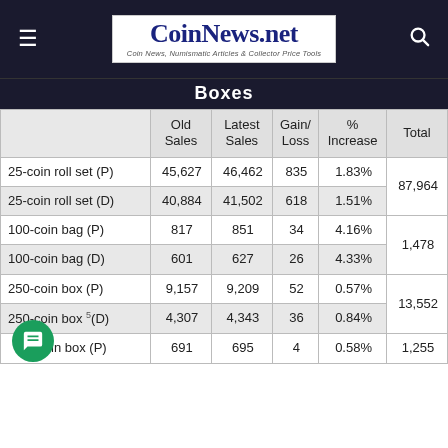CoinNews.net — Coin News, Numismatic Articles & Collector Price Tools
Boxes
|  | Old Sales | Latest Sales | Gain/Loss | % Increase | Total |
| --- | --- | --- | --- | --- | --- |
| 25-coin roll set (P) | 45,627 | 46,462 | 835 | 1.83% | 87,964 |
| 25-coin roll set (D) | 40,884 | 41,502 | 618 | 1.51% | 87,964 |
| 100-coin bag (P) | 817 | 851 | 34 | 4.16% | 1,478 |
| 100-coin bag (D) | 601 | 627 | 26 | 4.33% | 1,478 |
| 250-coin box (P) | 9,157 | 9,209 | 52 | 0.57% | 13,552 |
| 250-coin box (D) | 4,307 | 4,343 | 36 | 0.84% | 13,552 |
| -coin box (P) | 691 | 695 | 4 | 0.58% | 1,255 |